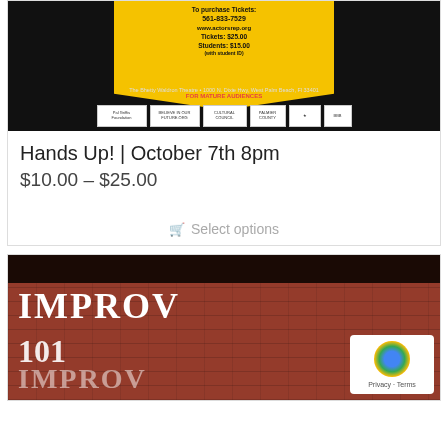[Figure (photo): Theater event poster for 'Hands Up!' showing yellow pentagonal ticket shape on black background with purchase info: 561-833-7529, www.actorsrep.org, Tickets: $25.00, Students: $15.00 (with student ID). Venue: The Bhetty Waldron Theatre, 1000 N. Dixie Hwy, West Palm Beach, FL 33401. FOR MATURE AUDIENCES. Sponsor logos at bottom.]
Hands Up! | October 7th 8pm
$10.00 – $25.00
Select options
[Figure (photo): Improv 101 promotional image showing large white text 'IMPROV' and '101' on a red brick wall background with dark top band. Bottom right shows a reCAPTCHA Privacy · Terms badge.]